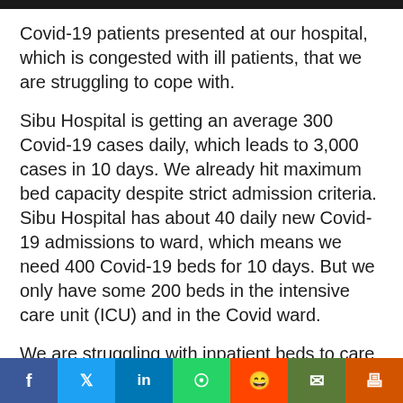Covid-19 patients presented at our hospital, which is congested with ill patients, that we are struggling to cope with.
Sibu Hospital is getting an average 300 Covid-19 cases daily, which leads to 3,000 cases in 10 days. We already hit maximum bed capacity despite strict admission criteria. Sibu Hospital has about 40 daily new Covid-19 admissions to ward, which means we need 400 Covid-19 beds for 10 days. But we only have some 200 beds in the intensive care unit (ICU) and in the Covid ward.
We are struggling with inpatient beds to care